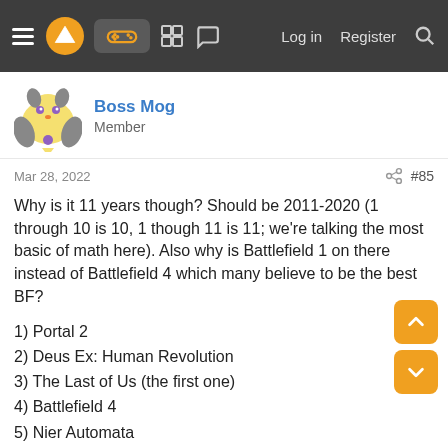Navigation bar with menu, logo, controller icon, grid, chat, Log in, Register, Search
Boss Mog
Member
Mar 28, 2022  #85
Why is it 11 years though? Should be 2011-2020 (1 through 10 is 10, 1 though 11 is 11; we're talking the most basic of math here). Also why is Battlefield 1 on there instead of Battlefield 4 which many believe to be the best BF?
1) Portal 2
2) Deus Ex: Human Revolution
3) The Last of Us (the first one)
4) Battlefield 4
5) Nier Automata
6) Just Cause 3
7) Marvel's Spider-man
I put 7 in case BF4 and JC3 get rejected for not being on the